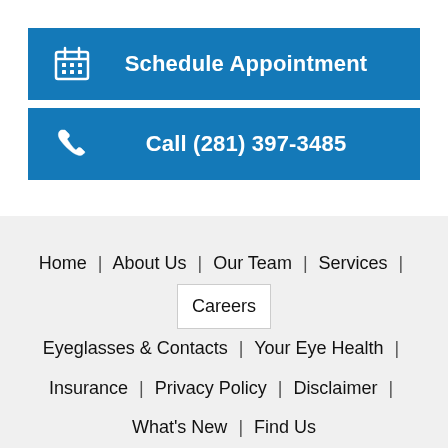Schedule Appointment
Call (281) 397-3485
Home | About Us | Our Team | Services | Careers | Eyeglasses & Contacts | Your Eye Health | Insurance | Privacy Policy | Disclaimer | What's New | Find Us
Texas State Optical
28301 State Highway 249 # 700